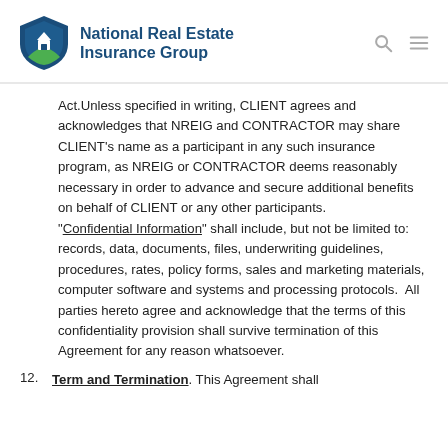National Real Estate Insurance Group
Act.Unless specified in writing, CLIENT agrees and acknowledges that NREIG and CONTRACTOR may share CLIENT's name as a participant in any such insurance program, as NREIG or CONTRACTOR deems reasonably necessary in order to advance and secure additional benefits on behalf of CLIENT or any other participants. “Confidential Information” shall include, but not be limited to: records, data, documents, files, underwriting guidelines, procedures, rates, policy forms, sales and marketing materials, computer software and systems and processing protocols.  All parties hereto agree and acknowledge that the terms of this confidentiality provision shall survive termination of this Agreement for any reason whatsoever.
12. Term and Termination. This Agreement shall